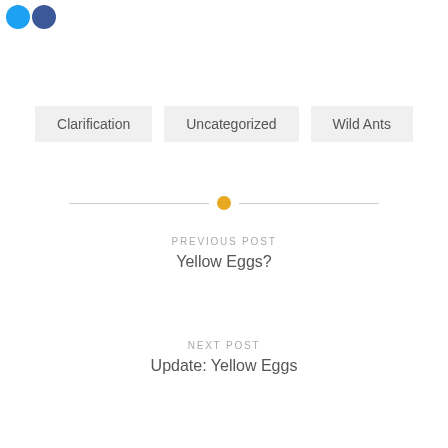[Figure (illustration): Two circular social media icon buttons (Twitter blue and Facebook blue) in top-left area]
Clarification
Uncategorized
Wild Ants
[Figure (illustration): Horizontal divider with orange/yellow dot in center]
PREVIOUS POST
Yellow Eggs?
NEXT POST
Update: Yellow Eggs